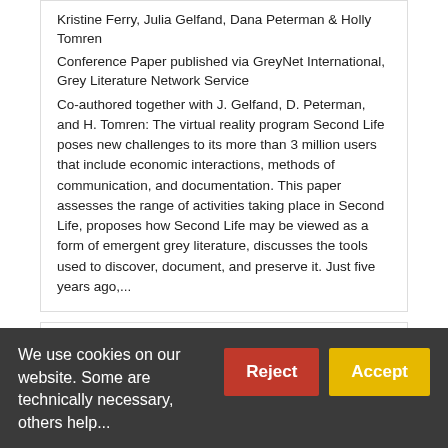Kristine Ferry, Julia Gelfand, Dana Peterman & Holly Tomren
Conference Paper published via GreyNet International, Grey Literature Network Service
Co-authored together with J. Gelfand, D. Peterman, and H. Tomren: The virtual reality program Second Life poses new challenges to its more than 3 million users that include economic interactions, methods of communication, and documentation. This paper assesses the range of activities taking place in Second Life, proposes how Second Life may be viewed as a form of emergent grey literature, discusses the tools used to discover, document, and preserve it. Just five years ago,...
No citations were reported. No usage information was reported.
We use cookies on our website. Some are technically necessary, others help...